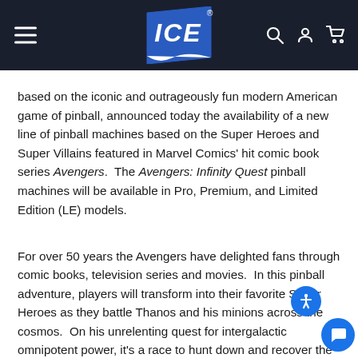ICE (logo) — navigation header with hamburger menu, search, account, and cart icons
based on the iconic and outrageously fun modern American game of pinball, announced today the availability of a new line of pinball machines based on the Super Heroes and Super Villains featured in Marvel Comics' hit comic book series Avengers.  The Avengers: Infinity Quest pinball machines will be available in Pro, Premium, and Limited Edition (LE) models.
For over 50 years the Avengers have delighted fans through comic books, television series and movies.  In this pinball adventure, players will transform into their favorite Super Heroes as they battle Thanos and his minions across the cosmos.  On his unrelenting quest for intergalactic omnipotent power, it's a race to hunt down and recover the six Infinity Gems before Thanos gets his hands on